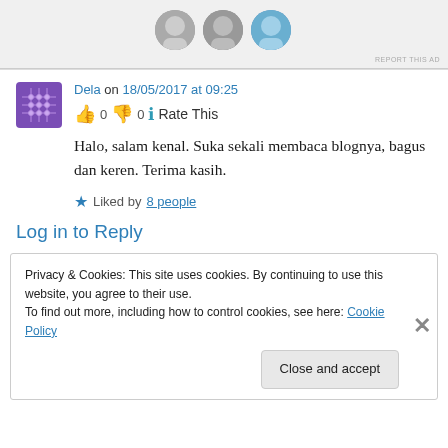[Figure (screenshot): Top ad bar with user avatar circles and 'REPORT THIS AD' text]
Dela on 18/05/2017 at 09:25
👍 0 👎 0 ℹ Rate This
Halo, salam kenal. Suka sekali membaca blognya, bagus dan keren. Terima kasih.
★ Liked by 8 people
Log in to Reply
Privacy & Cookies: This site uses cookies. By continuing to use this website, you agree to their use.
To find out more, including how to control cookies, see here: Cookie Policy